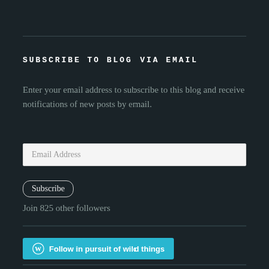SUBSCRIBE TO BLOG VIA EMAIL
Enter your email address to subscribe to this blog and receive notifications of new posts by email.
Email Address
Subscribe
Join 825 other followers
Follow in pursuit of wild things